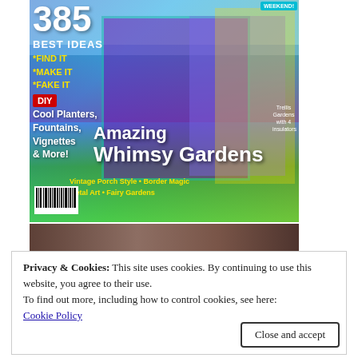[Figure (photo): Magazine cover of a garden/DIY publication showing a colorful whimsical garden shed with blue and purple painted wood, teal trim, flowers, planters. Text overlay: '385 BEST IDEAS', '*FIND IT *MAKE IT *FAKE IT', 'DIY', 'Cool Planters, Fountains, Vignettes & More!', 'Amazing Whimsy Gardens', 'Vintage Porch Style • Border Magic', 'Metal Art • Fairy Gardens']
[Figure (photo): Partial photo strip showing rustic wooden furniture/garden tools in brown tones]
Privacy & Cookies: This site uses cookies. By continuing to use this website, you agree to their use.
To find out more, including how to control cookies, see here:
Cookie Policy
Close and accept